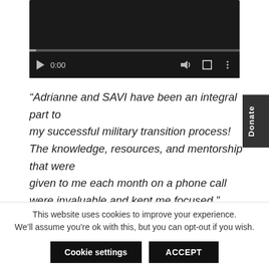[Figure (screenshot): Video player with dark background showing 0:00 timestamp, play button, progress bar, volume icon, fullscreen icon, and options icon]
“Adrianne and SAVI have been an integral part to my successful military transition process! The knowledge, resources, and mentorship that were given to me each month on a phone call were invaluable and kept me focused.”
This website uses cookies to improve your experience. We’ll assume you’re ok with this, but you can opt-out if you wish.
Cookie settings  ACCEPT